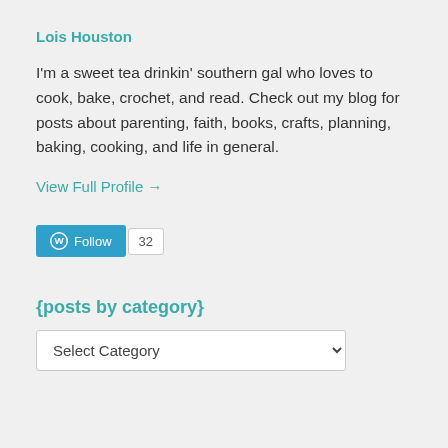Lois Houston
I'm a sweet tea drinkin' southern gal who loves to cook, bake, crochet, and read. Check out my blog for posts about parenting, faith, books, crafts, planning, baking, cooking, and life in general.
View Full Profile →
[Figure (other): WordPress Follow button with follower count badge showing 32]
{posts by category}
Select Category dropdown